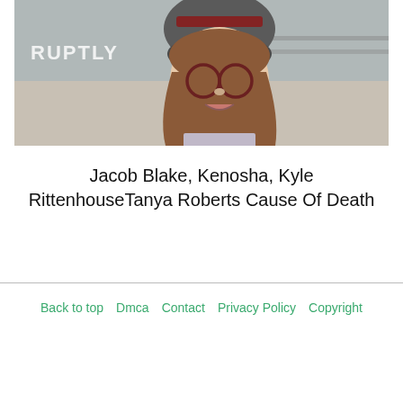[Figure (photo): Screenshot of a Ruptly video still showing a young woman with glasses, brown hair, and a gray beanie hat, speaking outdoors.]
Jacob Blake, Kenosha, Kyle RittenhouseTanya Roberts Cause Of Death
Back to top   Dmca   Contact   Privacy Policy   Copyright